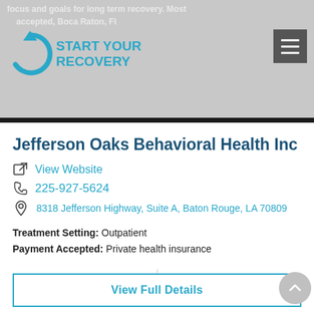START YOUR RECOVERY
Jefferson Oaks Behavioral Health Inc
View Website
225-927-5624
8318 Jefferson Highway, Suite A, Baton Rouge, LA 70809
Treatment Setting: Outpatient
Payment Accepted: Private health insurance
1 Accreditation(s)  |  MAT Available
View Full Details